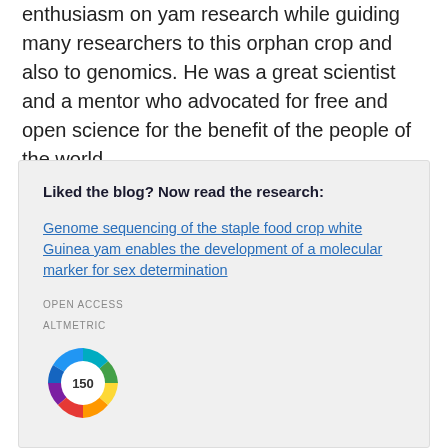enthusiasm on yam research while guiding many researchers to this orphan crop and also to genomics. He was a great scientist and a mentor who advocated for free and open science for the benefit of the people of the world.
Liked the blog? Now read the research:
Genome sequencing of the staple food crop white Guinea yam enables the development of a molecular marker for sex determination
OPEN ACCESS
ALTMETRIC
[Figure (other): Altmetric donut badge showing score of 150, with colorful ring segments in blue, red, yellow, green, and purple around a white center circle.]